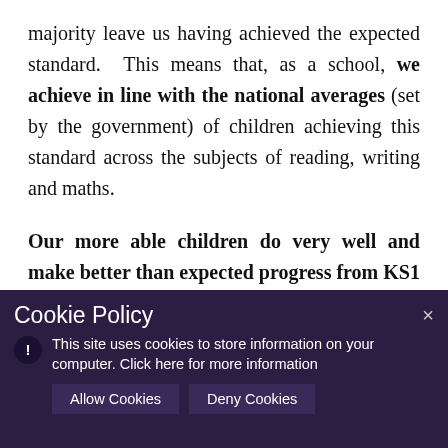majority leave us having achieved the expected standard. This means that, as a school, we achieve in line with the national averages (set by the government) of children achieving this standard across the subjects of reading, writing and maths.
Our more able children do very well and make better than expected progress from KS1 to the end of KS2. This is further reinforced by attainment data which shows that in all subjects more than the national average have achieved the higher standard, compared to our high
[Figure (screenshot): Cookie Policy popup overlay on a dark purple background. Title: 'Cookie Policy'. Text: 'This site uses cookies to store information on your computer. Click here for more information'. Two buttons: 'Allow Cookies' and 'Deny Cookies'. A close (×) button top right. Exclamation icon bottom left.]